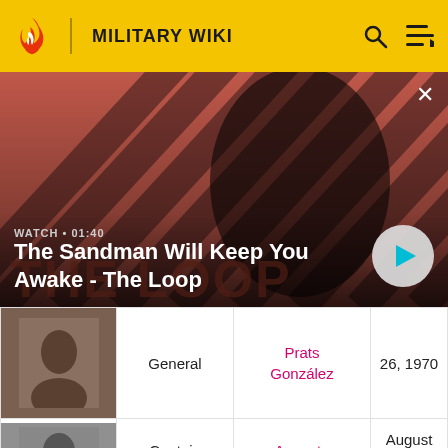MILITARY WIKI
[Figure (screenshot): Video banner: The Sandman Will Keep You Awake - The Loop. Shows a dark-clad figure with a crow on shoulder against red diagonal stripe background. WATCH • 01:40 label shown.]
WATCH • 01:40
The Sandman Will Keep You Awake - The Loop
| [image] | Rank | Name | Date |
| --- | --- | --- | --- |
| [photo] | General | Prats González | 26, 1970 |
| [photo] | Captain General | Augusto Pinochet | August 23, 1973 |